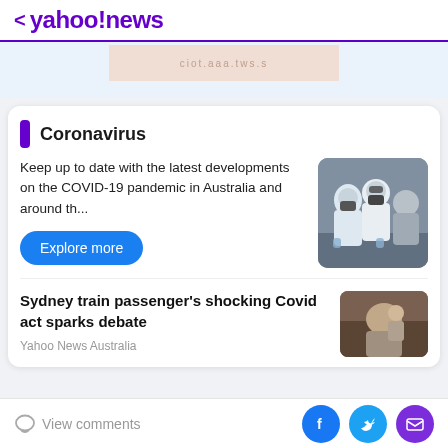< yahoo!news
[Figure (screenshot): Blurred ad banner with pink/beige background and URL-like text]
Coronavirus
Keep up to date with the latest developments on the COVID-19 pandemic in Australia and around th...
[Figure (photo): People in white PPE suits and gas masks]
Explore more
Sydney train passenger's shocking Covid act sparks debate
Yahoo News Australia
[Figure (photo): Thumbnail image related to Sydney train Covid story]
View comments